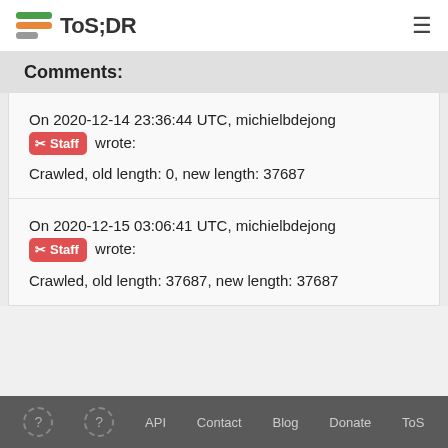ToS;DR
Comments:
On 2020-12-14 23:36:44 UTC, michielbdejong [Staff] wrote:
Crawled, old length: 0, new length: 37687
On 2020-12-15 03:06:41 UTC, michielbdejong [Staff] wrote:
Crawled, old length: 37687, new length: 37687
? ? API Contact Blog Donate ToS